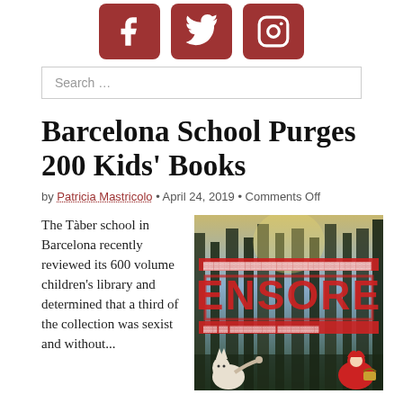[Figure (illustration): Three social media icons (Facebook, Twitter, Instagram) in dark red rounded square buttons]
Search …
Barcelona School Purges 200 Kids' Books
by Patricia Mastricolo • April 24, 2019 • Comments Off
The Tàber school in Barcelona recently reviewed its 600 volume children's library and determined that a third of the collection was sexist and without...
[Figure (photo): A forest scene with a large red CENSORED stamp overlay, and cartoon characters of a wolf and a red-hooded figure at the bottom]